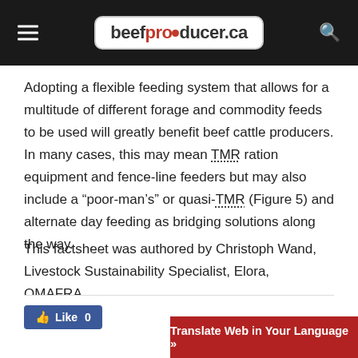beefproducer.ca
Adopting a flexible feeding system that allows for a multitude of different forage and commodity feeds to be used will greatly benefit beef cattle producers. In many cases, this may mean TMR ration equipment and fence-line feeders but may also include a “poor-man’s” or quasi-TMR (Figure 5) and alternate day feeding as bridging solutions along the way.
This factsheet was authored by Christoph Wand, Livestock Sustainability Specialist, Elora, OMAFRA.
[Figure (other): Like button with count 0 and Translate Web in Your Language button]